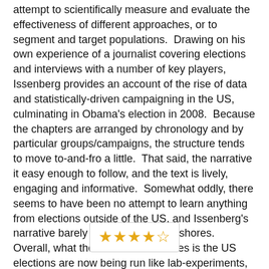attempt to scientifically measure and evaluate the effectiveness of different approaches, or to segment and target populations.  Drawing on his own experience of a journalist covering elections and interviews with a number of key players, Issenberg provides an account of the rise of data and statistically-driven campaigning in the US, culminating in Obama's election in 2008.  Because the chapters are arranged by chronology and by particular groups/campaigns, the structure tends to move to-and-fro a little.  That said, the narrative it easy enough to follow, and the text is lively, engaging and informative.  Somewhat oddly, there seems to have been no attempt to learn anything from elections outside of the US, and Issenberg's narrative barely strays beyond US shores.  Overall, what the book demonstrates is the US elections are now being run like lab-experiments, underpinned by big data and statistical algorithms, and they're set to follow this approach for the foreseeable future.
[Figure (other): 4.5 star rating shown as gold star icons inside a bordered box]